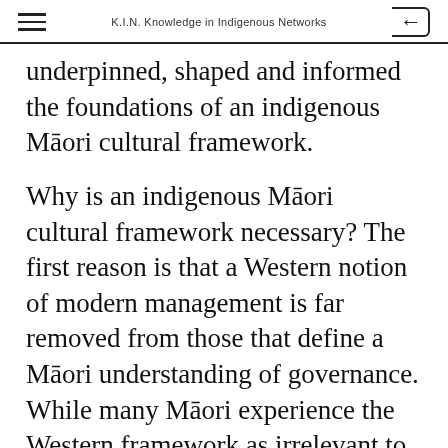K.I.N. Knowledge in Indigenous Networks
underpinned, shaped and informed the foundations of an indigenous Māori cultural framework.
Why is an indigenous Māori cultural framework necessary? The first reason is that a Western notion of modern management is far removed from those that define a Māori understanding of governance. While many Māori experience the Western framework as irrelevant to their lives (yay!), many others champion that it is the only way (boo!!). This outlook cannot see that it offers them little effective